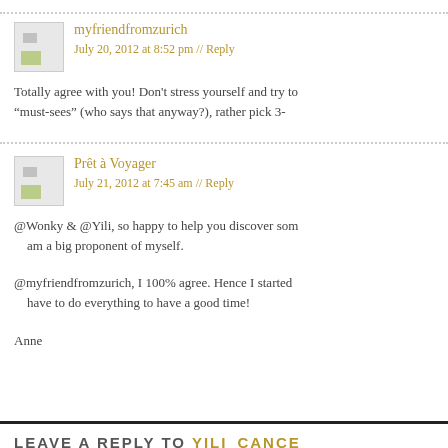myfriendfromzurich
July 20, 2012 at 8:52 pm // Reply
Totally agree with you! Don't stress yourself and try to "must-sees" (who says that anyway?), rather pick 3-
Prêt à Voyager
July 21, 2012 at 7:45 am // Reply
@Wonky & @Yili, so happy to help you discover som am a big proponent of myself.
@myfriendfromzurich, I 100% agree. Hence I started have to do everything to have a good time!
Anne
LEAVE A REPLY TO YILI   CANCEL